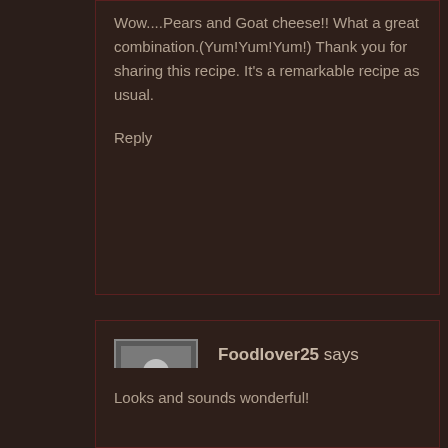Wow....Pears and Goat cheese!! What a great combination.(Yum!Yum!Yum!) Thank you for sharing this recipe. It's a remarkable recipe as usual.
Reply
Foodlover25 says
May 19, 2010 at 23:44
Looks and sounds wonderful!